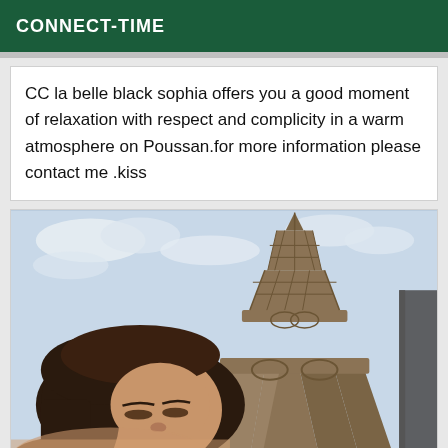CONNECT-TIME
CC la belle black sophia offers you a good moment of relaxation with respect and complicity in a warm atmosphere on Poussan.for more information please contact me .kiss
[Figure (photo): Selfie of a dark-haired woman in the foreground with the Eiffel Tower prominent in the background against a cloudy sky, taken in Paris.]